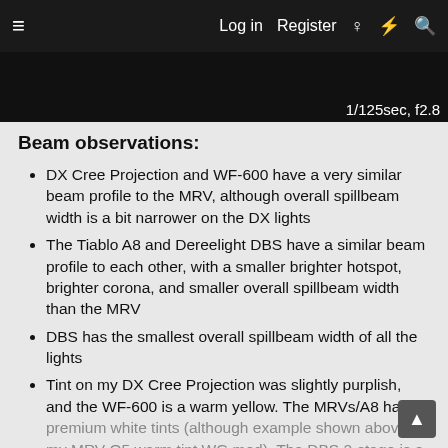≡  Log in  Register  ♀  ⚡  🔍
[Figure (photo): Dark photo strip with exposure label: 1/125sec, f2.8]
1/125sec, f2.8
Beam observations:
DX Cree Projection and WF-600 have a very similar beam profile to the MRV, although overall spillbeam width is a bit narrower on the DX lights
The Tiablo A8 and Dereelight DBS have a similar beam profile to each other, with a smaller brighter hotspot, brighter corona, and smaller overall spillbeam width than the MRV
DBS has the smallest overall spillbeam width of all the lights
Tint on my DX Cree Projection was slightly purplish, and the WF-600 is a warm yellow. The MRVs/A8 have premium white tints (although example shown above is my MRV Q5 warm tint WG mod). The DBS 2-stage is a warm tint, consistent with the reporter WDAWG. M...